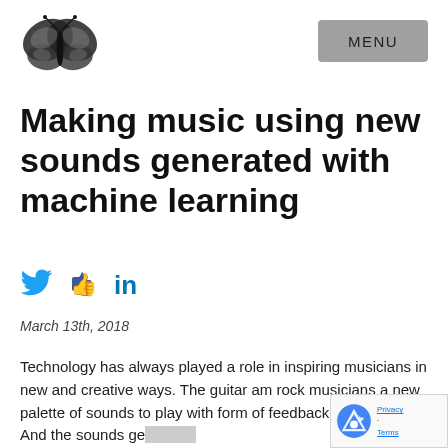[Figure (logo): Black and white butterfly illustration in top left corner]
MENU
Making music using new sounds generated with machine learning
[Figure (infographic): Social sharing icons: Twitter bird icon, Facebook thumbs up icon, LinkedIn 'in' icon, all in blue]
March 13th, 2018
Technology has always played a role in inspiring musicians in new and creative ways. The guitar am rock musicians a new palette of sounds to play with form of feedback and distortion. And the sounds generated